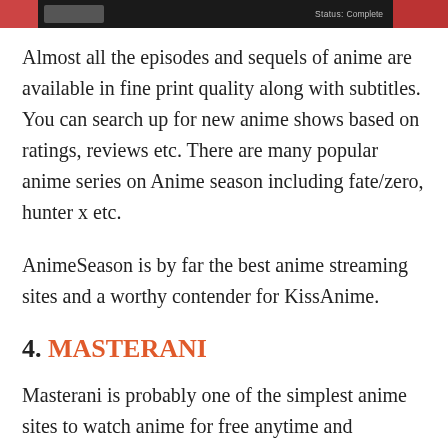[Figure (screenshot): A dark banner/header bar from an anime website with navigation elements and a red sidebar image on the right. Shows 'Status: Complete' label.]
Almost all the episodes and sequels of anime are available in fine print quality along with subtitles. You can search up for new anime shows based on ratings, reviews etc. There are many popular anime series on Anime season including fate/zero, hunter x etc.
AnimeSeason is by far the best anime streaming sites and a worthy contender for KissAnime.
4. MASTERANI
Masterani is probably one of the simplest anime sites to watch anime for free anytime and anywhere. The homepage of the site shows all the highly rated